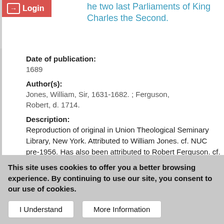he two last Parliaments of King Charles the Second.
Date of publication:
1689
Author(s):
Jones, William, Sir, 1631-1682. ; Ferguson, Robert, d. 1714.
Description:
Reproduction of original in Union Theological Seminary Library, New York. Attributed to William Jones. cf. NUC pre-1956. Has also been attributed to Robert Ferguson. cf. Wing and DNB.
This item contains 4 files (1.84 MB).
Publicly Available
This site uses cookies to offer you a better browsing experience. By continuing to use our site, you consent to our use of cookies.